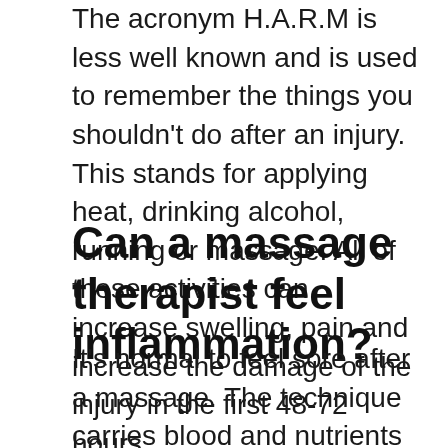The acronym H.A.R.M is less well known and is used to remember the things you shouldn't do after an injury. This stands for applying heat, drinking alcohol, running or massage. All of these activities can increase swelling, pain and increase the damage of the injury in the first 48-72 hours.
Can a massage therapist feel inflammation?
It's normal to feel sore after a massage. The technique carries blood and nutrients to your muscles while eliminating toxins. After stimulating muscles that you may not usually use, you might experience delayed onset muscle soreness. This is a physical response to the inflammation as your body